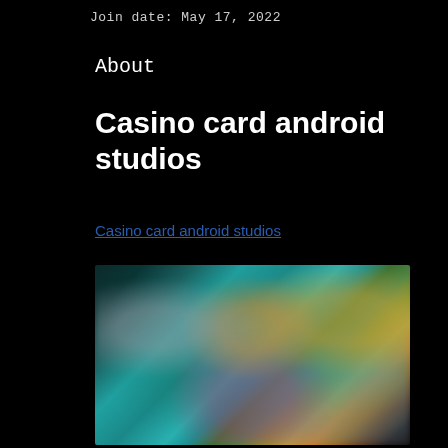Join date: May 17, 2022
About
Casino card android studios
Casino card android studios
[Figure (photo): Blurred screenshot of a casino card game app showing colorful game characters and interface elements on a dark background]